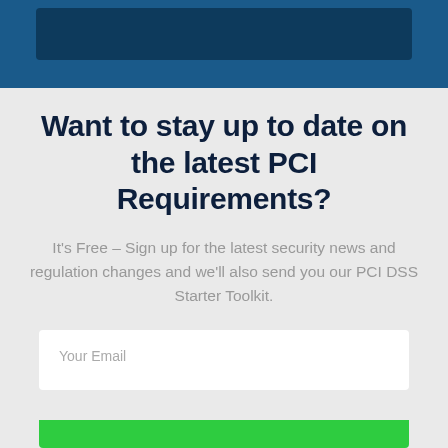[Figure (other): Dark blue header banner with a darker rectangular element inside]
Want to stay up to date on the latest PCI Requirements?
It's Free – Sign up for the latest security news and regulation changes and we'll also send you our PCI DSS Starter Toolkit.
Your Email